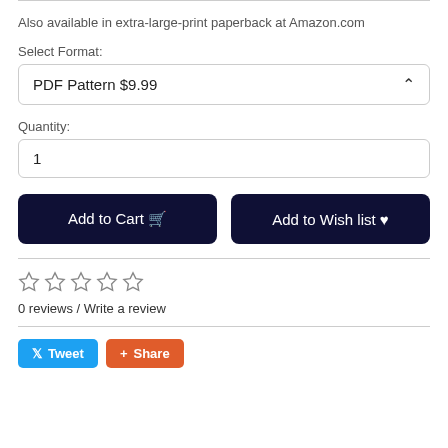Also available in extra-large-print paperback at Amazon.com
Select Format:
PDF Pattern $9.99
Quantity:
1
Add to Cart
Add to Wish list
0 reviews / Write a review
Tweet
Share